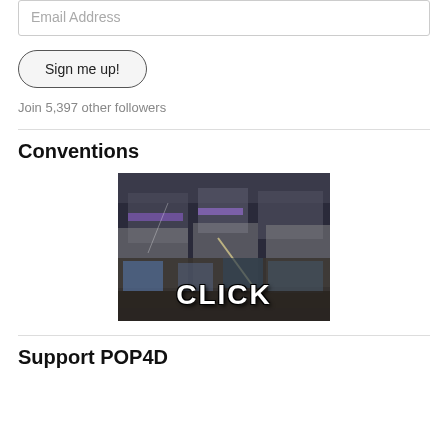Email Address
Sign me up!
Join 5,397 other followers
Conventions
[Figure (photo): Aerial view of a busy convention hall floor with many booths and crowds of people. Large text overlay reads 'CLICK' in bold white letters at the bottom of the image.]
Support POP4D